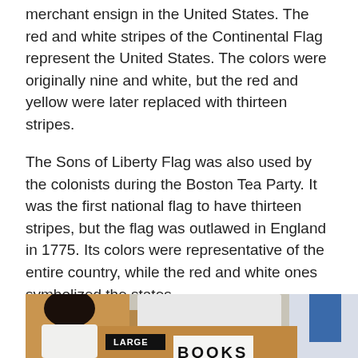merchant ensign in the United States. The red and white stripes of the Continental Flag represent the United States. The colors were originally nine and white, but the red and yellow were later replaced with thirteen stripes.
The Sons of Liberty Flag was also used by the colonists during the Boston Tea Party. It was the first national flag to have thirteen stripes, but the flag was outlawed in England in 1775. Its colors were representative of the entire country, while the red and white ones symbolized the states.
[Figure (photo): Photo of a person near cardboard moving boxes with a white printer/scanner on top. A box is labeled LARGE. Partial text 'BOOKS' visible at the bottom of the image.]